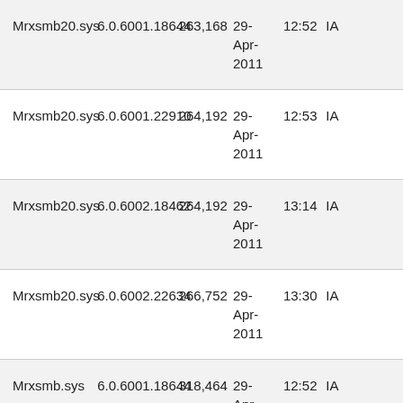| Mrxsmb20.sys | 6.0.6001.18644 | 263,168 | 29-Apr-2011 | 12:52 | IA |
| Mrxsmb20.sys | 6.0.6001.22910 | 264,192 | 29-Apr-2011 | 12:53 | IA |
| Mrxsmb20.sys | 6.0.6002.18462 | 264,192 | 29-Apr-2011 | 13:14 | IA |
| Mrxsmb20.sys | 6.0.6002.22634 | 266,752 | 29-Apr-2011 | 13:30 | IA |
| Mrxsmb.sys | 6.0.6001.18644 | 318,464 | 29-Apr-2011 | 12:52 | IA |